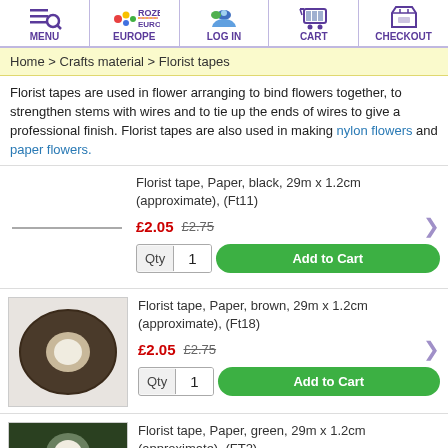MENU | ROZE EUROPE | LOG IN | CART | CHECKOUT
Home > Crafts material > Florist tapes
Florist tapes are used in flower arranging to bind flowers together, to strengthen stems with wires and to tie up the ends of wires to give a professional finish. Florist tapes are also used in making nylon flowers and paper flowers.
Florist tape, Paper, black, 29m x 1.2cm (approximate), (Ft11)
£2.05  £2.75
Qty 1  Add to Cart
Florist tape, Paper, brown, 29m x 1.2cm (approximate), (Ft18)
£2.05  £2.75
Qty 1  Add to Cart
Florist tape, Paper, green, 29m x 1.2cm (approximate), (FT2)